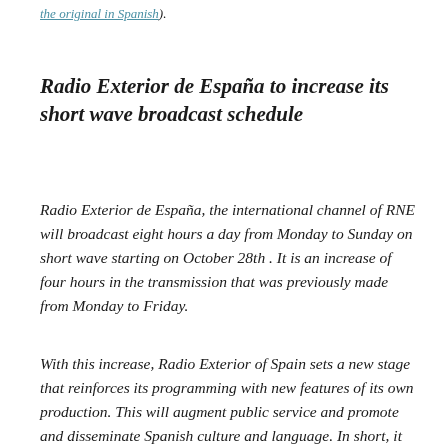the original in Spanish).
Radio Exterior de España to increase its short wave broadcast schedule
Radio Exterior de España, the international channel of RNE will broadcast eight hours a day from Monday to Sunday on short wave starting on October 28th . It is an increase of four hours in the transmission that was previously made from Monday to Friday.
With this increase, Radio Exterior of Spain sets a new stage that reinforces its programming with new features of its own production. This will augment public service and promote and disseminate Spanish culture and language. In short, it strives to place Spain on the global horizon of the time in which we live.